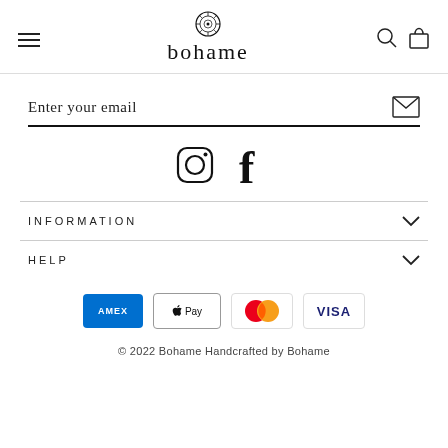bohame (logo/navigation header)
Enter your email
[Figure (illustration): Instagram and Facebook social media icons]
INFORMATION
HELP
[Figure (illustration): Payment method icons: American Express, Apple Pay, Mastercard, Visa]
© 2022 Bohame Handcrafted by Bohame